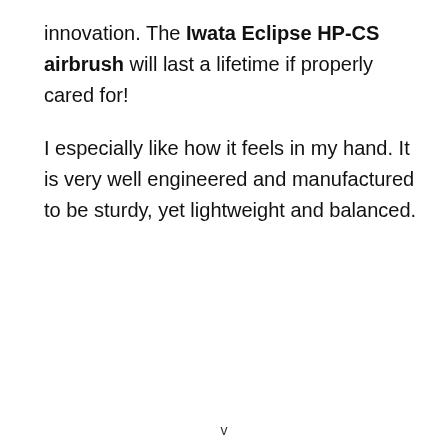innovation. The Iwata Eclipse HP-CS airbrush will last a lifetime if properly cared for!
I especially like how it feels in my hand. It is very well engineered and manufactured to be sturdy, yet lightweight and balanced.
v